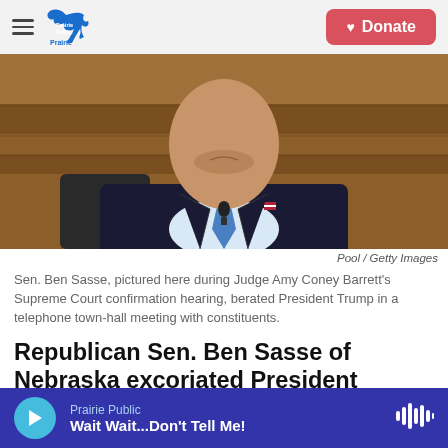Prairie Public — Donate
[Figure (photo): A man in a dark suit with a blue tie and American flag pin seated at what appears to be a Senate hearing. Only the torso and lower face are visible. Wooden paneling in background.]
Pool / Getty Images
Sen. Ben Sasse, pictured here during Judge Amy Coney Barrett's Supreme Court confirmation hearing, berated President Trump in a telephone town-hall meeting with constituents.
Republican Sen. Ben Sasse of Nebraska excoriated President Trump in a telephone town-hall meeting
Prairie Public — Wait Wait...Don't Tell Me!